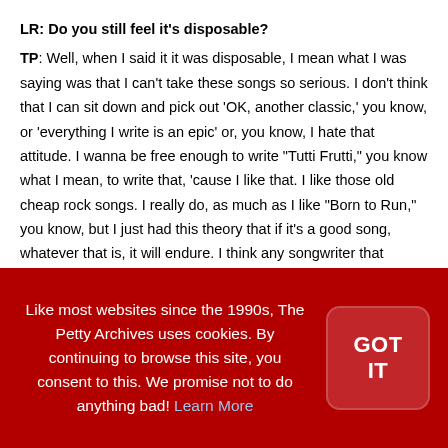LR: Do you still feel it's disposable?
TP: Well, when I said it it was disposable, I mean what I was saying was that I can't take these songs so serious. I don't think that I can sit down and pick out 'OK, another classic,' you know, or 'everything I write is an epic' or, you know, I hate that attitude. I wanna be free enough to write "Tutti Frutti," you know what I mean, to write that, 'cause I like that. I like those old cheap rock songs. I really do, as much as I like "Born to Run," you know, but I just had this theory that if it's a good song, whatever that is, it will endure. I think any songwriter that stands up and plays the guitar and really thinks that he's changing the world and singing to millions needs a tomato in
Like most websites since the 1990s, The Petty Archives uses cookies. By continuing to browse this site, you consent to this. We promise not to do anything bad! Learn More